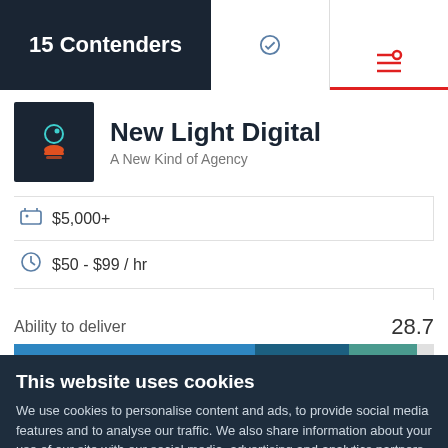15 Contenders
New Light Digital
A New Kind of Agency
|  | Value |  | Value |
| --- | --- | --- | --- |
| [icon] | $5,000+ | [icon] | $50 - $99 / hr |
| [icon] | 2 - 9 | [icon] | New York, NY |
Ability to deliver   28.7
[Figure (stacked-bar-chart): Ability to deliver score breakdown]
This website uses cookies
We use cookies to personalise content and ads, to provide social media features and to analyse our traffic. We also share information about your use of our site with our social media, advertising and analytics partners who may combine it with other information that you've provided to them or that they've collected from your use of their services. You agree to our cookies if you continue to use our website.
Close
Show details